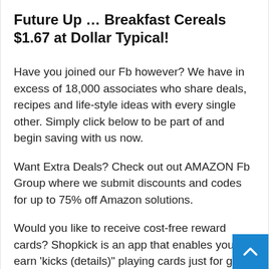Future Up … Breakfast Cereals $1.67 at Dollar Typical!
Have you joined our Fb however? We have in excess of 18,000 associates who share deals, recipes and life-style ideas with every single other. Simply click below to be part of and begin saving with us now.
Want Extra Deals? Check out out AMAZON Fb Group where we submit discounts and codes for up to 75% off Amazon solutions.
Would you like to receive cost-free reward cards? Shopkick is an app that enables you to earn 'kicks (details)" playing cards just for going for walks the retail outlet. You can then redeem all those factors to earn free reward playing cards. Verify